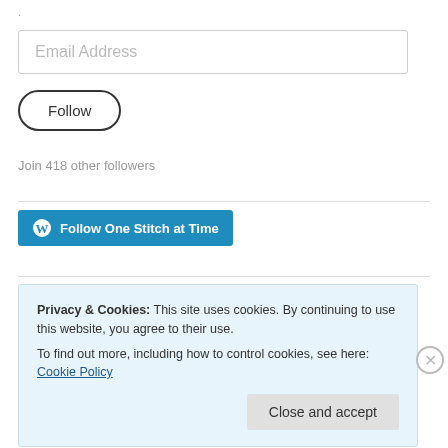.
Email Address
[Figure (other): Follow button — oval/pill-shaped button with label 'Follow']
Join 418 other followers
[Figure (other): WordPress Follow button — blue button with WordPress logo and text 'Follow One Stitch at Time']
Privacy & Cookies: This site uses cookies. By continuing to use this website, you agree to their use. To find out more, including how to control cookies, see here: Cookie Policy
Close and accept